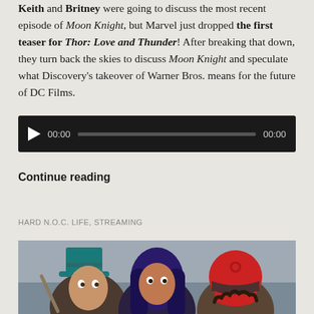Keith and Britney were going to discuss the most recent episode of Moon Knight, but Marvel just dropped the first teaser for Thor: Love and Thunder! After breaking that down, they turn back the skies to discuss Moon Knight and speculate what Discovery's takeover of Warner Bros. means for the future of DC Films.
[Figure (other): Audio player widget with black background, play button, time display showing 00:00, progress bar, and end time 00:00]
Continue reading
HARD N.O.C. LIFE, STREAMING
[Figure (photo): Three young people: left person wearing a teal top hat and holding something, center person with long dark blue/purple hair, right person wearing a red motorcycle helmet. Background appears to be a parking area.]